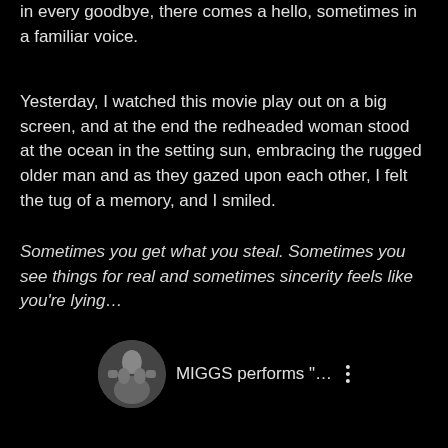in every goodbye, there comes a hello, sometimes in a familiar voice.
Yesterday, I watched this movie play out on a big screen, and at the end the redheaded woman stood at the ocean in the setting sun, embracing the rugged older man and as they gazed upon each other, I felt the tug of a memory, and I smiled.
Sometimes you get what you steal.  Sometimes you see things for real and sometimes sincerity feels like you're lying…
[Figure (screenshot): Video thumbnail widget showing a circular black-and-white photo thumbnail on the left and the text 'MIGGS performs "...' with a three-dot menu icon on the right]